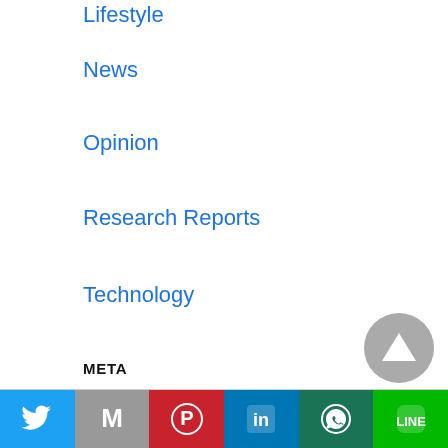Lifestyle
News
Opinion
Research Reports
Technology
META
Log in
Entries feed
Comments feed
WordPress.org
[Figure (other): Social share bar with icons for Twitter, Gmail, Pinterest, LinkedIn, WhatsApp, and LINE]